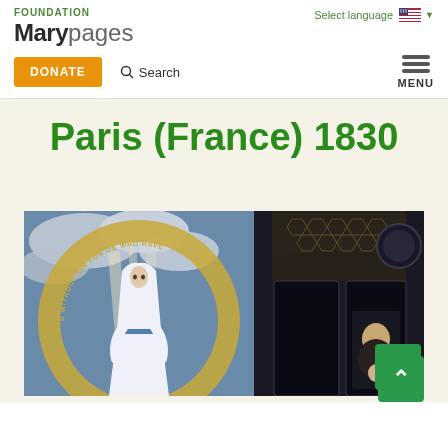FOUNDATION Marypages
Select language
DONATE
Search
MENU
Paris (France) 1830
[Figure (illustration): Religious painting depicting the Virgin Mary in white robes standing in an archway with text around a halo, alongside an ornate church interior and a portrait.]